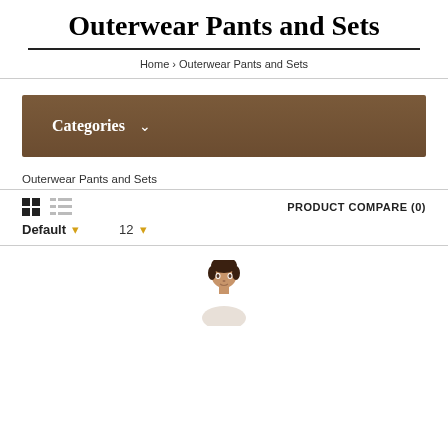Outerwear Pants and Sets
Home › Outerwear Pants and Sets
Categories ▾
Outerwear Pants and Sets
PRODUCT COMPARE (0)
Default ▾   12 ▾
[Figure (photo): Partial photo of a model, cropped at the bottom of the page]